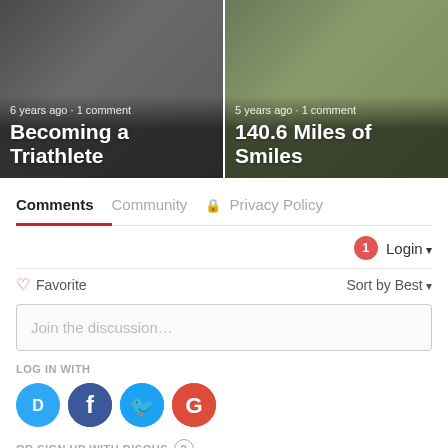[Figure (photo): Card: blog post thumbnail with dark overlay. Meta text '6 years ago • 1 comment'. Title 'Becoming a Triathlete'.]
[Figure (photo): Card: blog post thumbnail with dark overlay. Meta text '5 years ago • 1 comment'. Title '140.6 Miles of Smiles'.]
Comments
Community
🔒 Privacy Policy
1  Login ▾
♡ Favorite
Sort by Best ▾
Join the discussion...
LOG IN WITH
[Figure (logo): Disqus D logo (blue circle)]
[Figure (logo): Facebook f logo (dark blue circle)]
[Figure (logo): Twitter bird logo (light blue circle)]
[Figure (logo): Google G logo (red circle)]
OR SIGN UP WITH DISQUS ?
Name